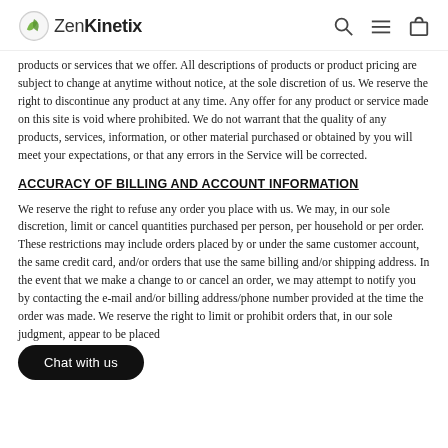ZenKinetix
products or services that we offer. All descriptions of products or product pricing are subject to change at anytime without notice, at the sole discretion of us. We reserve the right to discontinue any product at any time. Any offer for any product or service made on this site is void where prohibited. We do not warrant that the quality of any products, services, information, or other material purchased or obtained by you will meet your expectations, or that any errors in the Service will be corrected.
ACCURACY OF BILLING AND ACCOUNT INFORMATION
We reserve the right to refuse any order you place with us. We may, in our sole discretion, limit or cancel quantities purchased per person, per household or per order. These restrictions may include orders placed by or under the same customer account, the same credit card, and/or orders that use the same billing and/or shipping address. In the event that we make a change to or cancel an order, we may attempt to notify you by contacting the e-mail and/or billing address/phone number provided at the time the order was made. We reserve the right to limit or prohibit orders that, in our sole judgment, appear to be placed